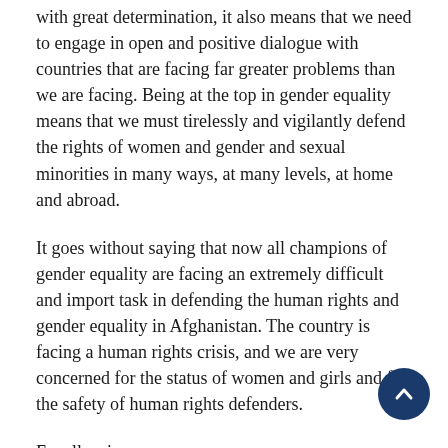with great determination, it also means that we need to engage in open and positive dialogue with countries that are facing far greater problems than we are facing. Being at the top in gender equality means that we must tirelessly and vigilantly defend the rights of women and gender and sexual minorities in many ways, at many levels, at home and abroad.
It goes without saying that now all champions of gender equality are facing an extremely difficult and import task in defending the human rights and gender equality in Afghanistan. The country is facing a human rights crisis, and we are very concerned for the status of women and girls and for the safety of human rights defenders.
Excellencies,
The opposition to gender equality across the world heightens the importance of Nordic cooperation on